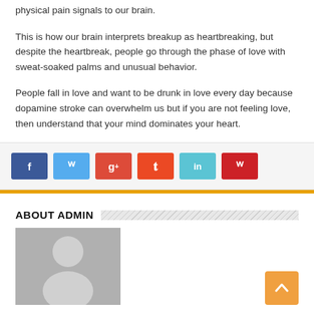physical pain signals to our brain.
This is how our brain interprets breakup as heartbreaking, but despite the heartbreak, people go through the phase of love with sweat-soaked palms and unusual behavior.
People fall in love and want to be drunk in love every day because dopamine stroke can overwhelm us but if you are not feeling love, then understand that your mind dominates your heart.
[Figure (infographic): Social media share buttons: Facebook (blue), Twitter (light blue), Google+ (red), StumbleUpon (orange-red), LinkedIn (teal), Pinterest (dark red)]
ABOUT ADMIN
[Figure (photo): Generic admin avatar placeholder — gray background with white silhouette of a person]